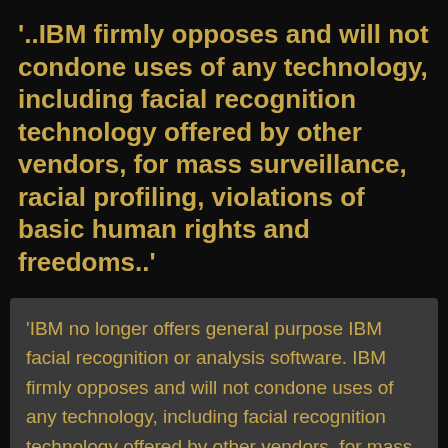'..IBM firmly opposes and will not condone uses of any technology, including facial recognition technology offered by other vendors, for mass surveillance, racial profiling, violations of basic human rights and freedoms..'
'IBM no longer offers general purpose IBM facial recognition or analysis software. IBM firmly opposes and will not condone uses of any technology, including facial recognition technology offered by other vendors, for mass